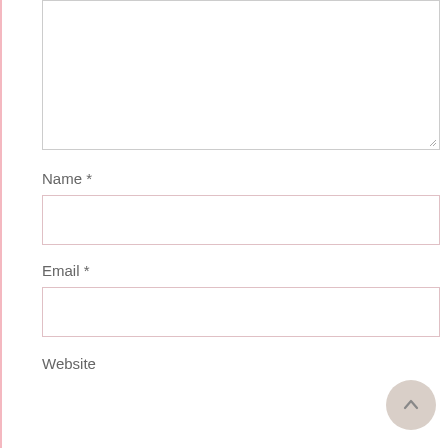[Figure (screenshot): Large empty textarea input box with resize handle at bottom right]
Name *
[Figure (screenshot): Single-line text input box for Name field]
Email *
[Figure (screenshot): Single-line text input box for Email field]
Website